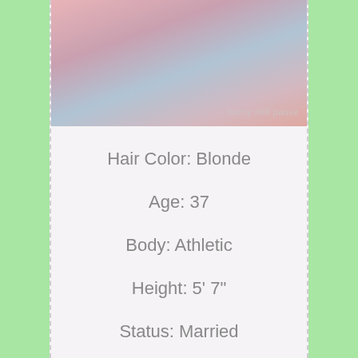[Figure (photo): Partial photo of a person in pink and blue clothing/bedding]
Hair Color: Blonde
Age: 37
Body: Athletic
Height: 5' 7"
Status: Married